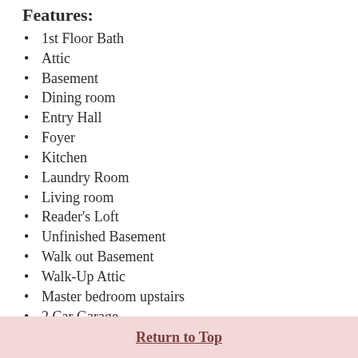Features:
1st Floor Bath
Attic
Basement
Dining room
Entry Hall
Foyer
Kitchen
Laundry Room
Living room
Reader's Loft
Unfinished Basement
Walk out Basement
Walk-Up Attic
Master bedroom upstairs
2 Car Garage
Driveway - Paved
Fenced Yard
Fresh paint
Patio
Porch
Return to Top